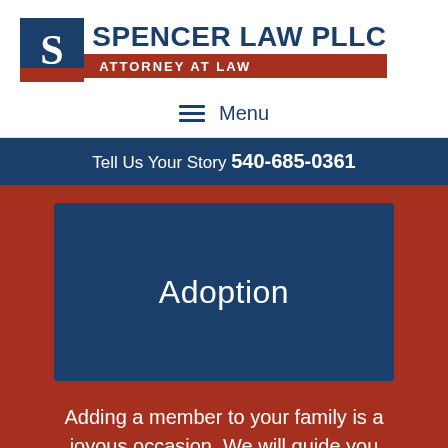[Figure (logo): Spencer Law PLLC logo with dark blue block containing white S letter and red bar at bottom, followed by firm name in dark blue and red Attorney at Law tagline bar]
Menu
Tell Us Your Story 540-685-0361
Adoption
Adding a member to your family is a joyous occasion. We will guide you through it.